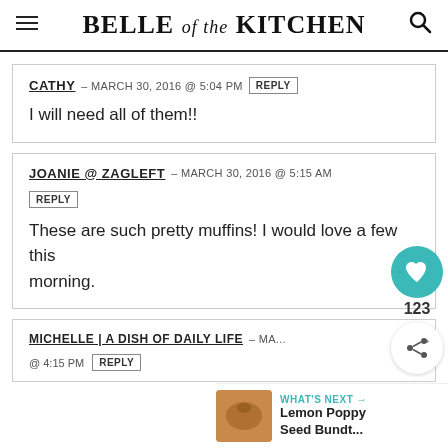BELLE of the KITCHEN
CATHY – MARCH 30, 2016 @ 5:04 PM [REPLY]
I will need all of them!!
JOANIE @ ZAGLEFT – MARCH 30, 2016 @ 5:15 AM [REPLY]
These are such pretty muffins! I would love a few this morning.
MICHELLE | A DISH OF DAILY LIFE – MA... @ 4:15 PM [REPLY]
WHAT'S NEXT → Lemon Poppy Seed Bundt...